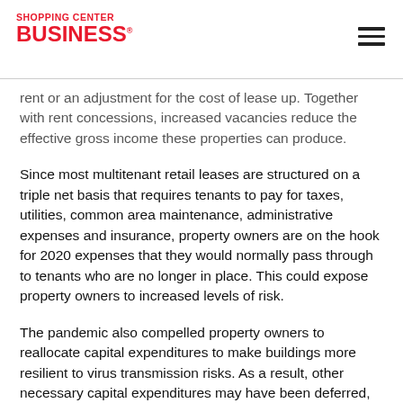SHOPPING CENTER BUSINESS
rent or an adjustment for the cost of lease up. Together with rent concessions, increased vacancies reduce the effective gross income these properties can produce.
Since most multitenant retail leases are structured on a triple net basis that requires tenants to pay for taxes, utilities, common area maintenance, administrative expenses and insurance, property owners are on the hook for 2020 expenses that they would normally pass through to tenants who are no longer in place. This could expose property owners to increased levels of risk.
The pandemic also compelled property owners to reallocate capital expenditures to make buildings more resilient to virus transmission risks. As a result, other necessary capital expenditures may have been deferred, which could impact